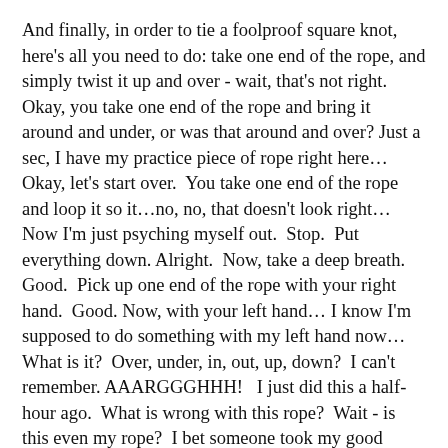And finally, in order to tie a foolproof square knot, here's all you need to do: take one end of the rope, and simply twist it up and over - wait, that's not right.  Okay, you take one end of the rope and bring it around and under, or was that around and over? Just a sec, I have my practice piece of rope right here… Okay, let's start over.  You take one end of the rope and loop it so it…no, no, that doesn't look right… Now I'm just psyching myself out.  Stop.  Put everything down. Alright.  Now, take a deep breath.  Good.  Pick up one end of the rope with your right hand.  Good.  Now, with your left hand… I know I'm supposed to do something with my left hand now…  What is it?  Over, under, in, out, up, down?  I can't remember.  AAARGGGHHH!   I just did this a half-hour ago.  What is wrong with this rope?  Wait - is this even my rope?  I bet someone took my good practice rope and replaced it with this defective piece of rope.  How am I supposed to tie a good knot with a bad piece of rope?  Bad rope!  Do you hear me?  You're a bad, naughty rope!  Should I tell you